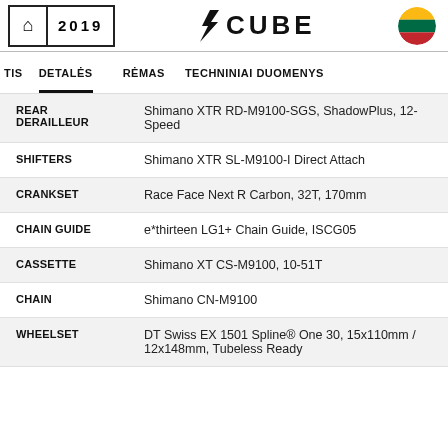2019 CUBE
DETALĖS | RĖMAS | TECHNINIAI DUOMENYS
| Component | Specification |
| --- | --- |
| REAR DERAILLEUR | Shimano XTR RD-M9100-SGS, ShadowPlus, 12-Speed |
| SHIFTERS | Shimano XTR SL-M9100-I Direct Attach |
| CRANKSET | Race Face Next R Carbon, 32T, 170mm |
| CHAIN GUIDE | e*thirteen LG1+ Chain Guide, ISCG05 |
| CASSETTE | Shimano XT CS-M9100, 10-51T |
| CHAIN | Shimano CN-M9100 |
| WHEELSET | DT Swiss EX 1501 Spline® One 30, 15x110mm / 12x148mm, Tubeless Ready |